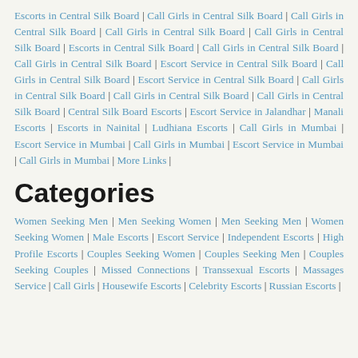Escorts in Central Silk Board | Call Girls in Central Silk Board | Call Girls in Central Silk Board | Call Girls in Central Silk Board | Call Girls in Central Silk Board | Escorts in Central Silk Board | Call Girls in Central Silk Board | Call Girls in Central Silk Board | Escort Service in Central Silk Board | Call Girls in Central Silk Board | Escort Service in Central Silk Board | Call Girls in Central Silk Board | Call Girls in Central Silk Board | Call Girls in Central Silk Board | Central Silk Board Escorts | Escort Service in Jalandhar | Manali Escorts | Escorts in Nainital | Ludhiana Escorts | Call Girls in Mumbai | Escort Service in Mumbai | Call Girls in Mumbai | Escort Service in Mumbai | Call Girls in Mumbai | More Links |
Categories
Women Seeking Men | Men Seeking Women | Men Seeking Men | Women Seeking Women | Male Escorts | Escort Service | Independent Escorts | High Profile Escorts | Couples Seeking Women | Couples Seeking Men | Couples Seeking Couples | Missed Connections | Transsexual Escorts | Massages Service | Call Girls | Housewife Escorts | Celebrity Escorts | Russian Escorts |